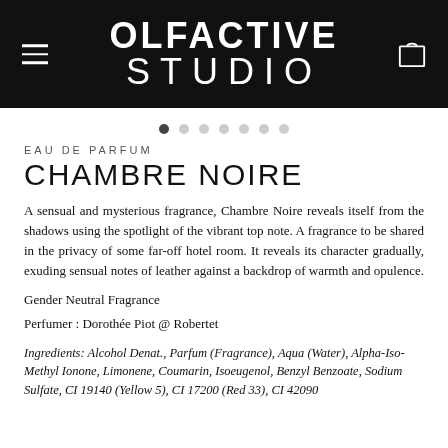OLFACTIVE STUDIO
CHAMBRE NOIRE
EAU DE PARFUM
A sensual and mysterious fragrance, Chambre Noire reveals itself from the shadows using the spotlight of the vibrant top note. A fragrance to be shared in the privacy of some far-off hotel room. It reveals its character gradually, exuding sensual notes of leather against a backdrop of warmth and opulence.
Gender Neutral Fragrance
Perfumer : Dorothée Piot @ Robertet
Ingredients: Alcohol Denat., Parfum (Fragrance), Aqua (Water), Alpha-Iso-Methyl Ionone, Limonene, Coumarin, Isoeugenol, Benzyl Benzoate, Sodium Sulfate, CI 19140 (Yellow 5), CI 17200 (Red 33), CI 42090 (Blue 1), CI 11370 (Tartaric...